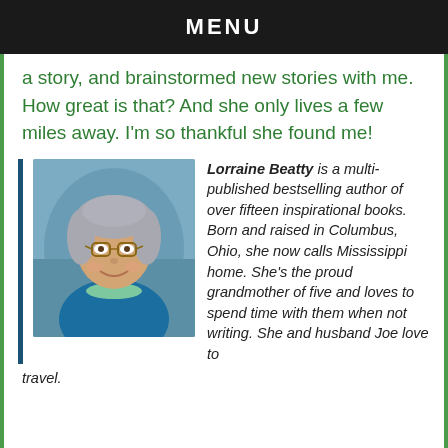MENU
a story, and brainstormed new stories with me. How great is that? And she only lives a few miles away. I'm so thankful she found me!
[Figure (photo): Headshot photo of Lorraine Beatty, an older woman with short gray hair and glasses, wearing a blue jacket, smiling warmly.]
Lorraine Beatty is a multi-published bestselling author of over fifteen inspirational books. Born and raised in Columbus, Ohio, she now calls Mississippi home. She's the proud grandmother of five and loves to spend time with them when not writing. She and husband Joe love to travel.